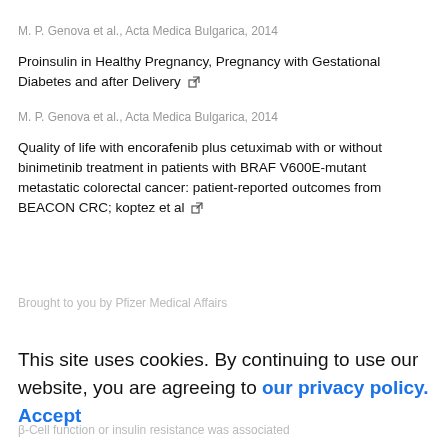M. P. Genova et al., Acta Medica Bulgarica, 2014
Proinsulin in Healthy Pregnancy, Pregnancy with Gestational Diabetes and after Delivery
M. P. Genova et al., Acta Medica Bulgarica, 2014
Quality of life with encorafenib plus cetuximab with or without binimetinib treatment in patients with BRAF V600E-mutant metastatic colorectal cancer: patient-reported outcomes from BEACON CRC; koptez et al
Brought to you by Pfizer Medical Affairs
This site uses cookies. By continuing to use our website, you are agreeing to our privacy policy. Accept
β-Cell function or insulin resistance was associated